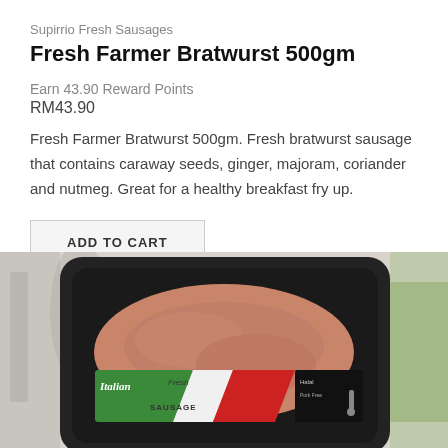Supirrio Fresh Sausages
Fresh Farmer Bratwurst 500gm
Earn 43.90 Reward Points
RM43.90
Fresh Farmer Bratwurst 500gm. Fresh bratwurst sausage that contains caraway seeds, ginger, majoram, coriander and nutmeg. Great for a healthy breakfast fry up.
ADD TO CART
[Figure (photo): Photo of a black plastic tray containing Fresh Italian Sausage product with a green and red label visible, showing the product inside the packaging. Background is blurred with kitchen items visible.]